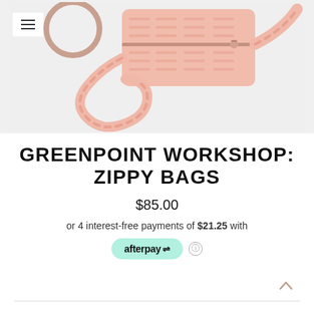[Figure (photo): Pink crossbody zippy bag with patterned strap and zipper pull on a light grey background, viewed from above with a circular luggage tag beside it]
GREENPOINT WORKSHOP: ZIPPY BAGS
$85.00
or 4 interest-free payments of $21.25 with afterpay